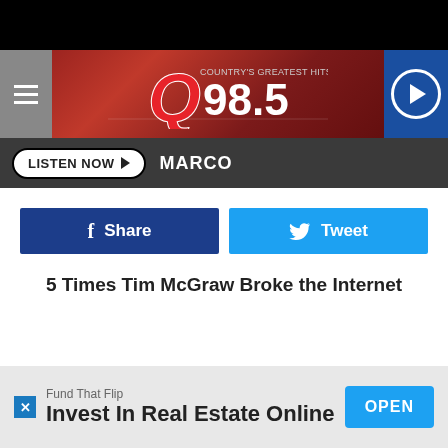[Figure (screenshot): Q98.5 radio station website screenshot header with logo, hamburger menu, and play button]
LISTEN NOW ▶  MARCO
[Figure (screenshot): Facebook Share button (dark blue) and Twitter Tweet button (light blue)]
5 Times Tim McGraw Broke the Internet
Fund That Flip
Invest In Real Estate Online
OPEN